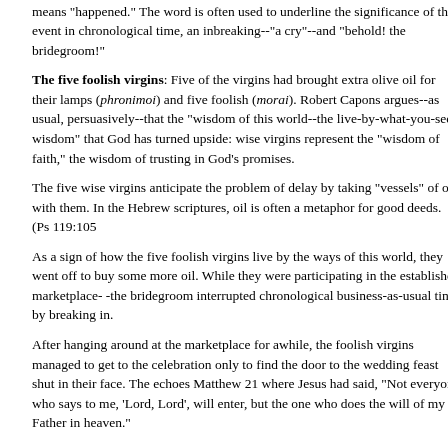Greek contains the word gegonen, which comes from ginomai, and which means "happened." The word is often used to underline the significance of the event in chronological time, an inbreaking--"a cry"--and "behold! the bridegroom!"
The five foolish virgins: Five of the virgins had brought extra olive oil for their lamps (phronimoi) and five foolish (morai). Robert Capons argues--as usual, persuasively--that the "wisdom of this world--the live-by-what-you-see wisdom" that God has turned upside: wise virgins represent the "wisdom of faith," the wisdom of trusting in God's promises.
The five wise virgins anticipate the problem of delay by taking "vessels" of oil with them. In the Hebrew scriptures, oil is often a metaphor for good deeds. (Ps 119:105
As a sign of how the five foolish virgins live by the ways of this world, they went off to buy some more oil. While they were participating in the established marketplace-the bridegroom interrupted chronological business-as-usual time by breaking in.
After hanging around at the marketplace for awhile, the foolish virgins managed to get to the celebration only to find the door to the wedding feast shut in their face. The echoes Matthew 21 where Jesus had said, "Not everyone who says to me, 'Lord, Lord', will enter, but the one who does the will of my Father in heaven."
In 7:21, Jesus was concluding the Sermon on the Mount. The "will" of Jesus' Father had just been expressed at considerable length in the beatitudes and the ensuing teaching that radically up-ended. "Blessed are the poor in spirit, those who mourn, the meek, those who hunger for justice!"
In the signature statement of Jesus' teaching in Matthew, the Sermon on the